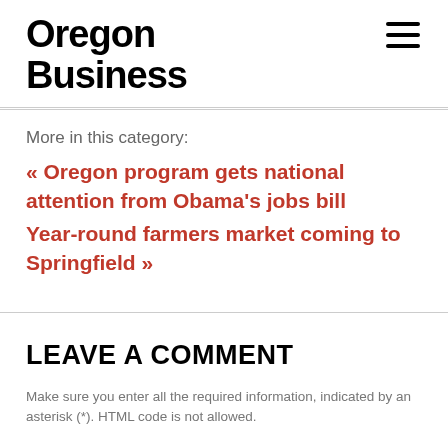Oregon Business
More in this category:
« Oregon program gets national attention from Obama's jobs bill
Year-round farmers market coming to Springfield »
LEAVE A COMMENT
Make sure you enter all the required information, indicated by an asterisk (*). HTML code is not allowed.